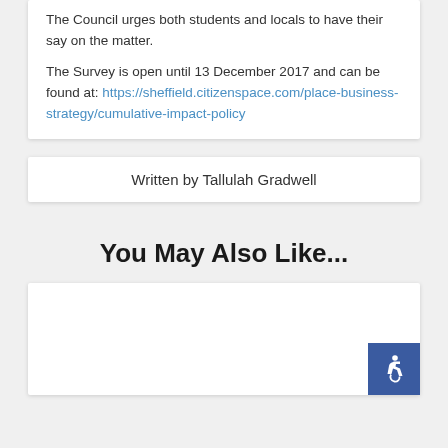The Council urges both students and locals to have their say on the matter.

The Survey is open until 13 December 2017 and can be found at: https://sheffield.citizenspace.com/place-business-strategy/cumulative-impact-policy
Written by Tallulah Gradwell
You May Also Like...
[Figure (other): Empty white card placeholder with accessibility icon in bottom-right corner]